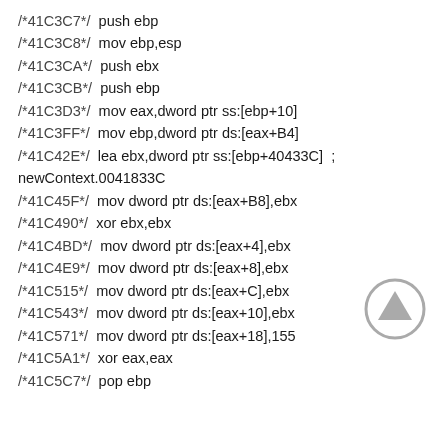/*41C3C7*/  push ebp
/*41C3C8*/  mov ebp,esp
/*41C3CA*/  push ebx
/*41C3CB*/  push ebp
/*41C3D3*/  mov eax,dword ptr ss:[ebp+10]
/*41C3FF*/  mov ebp,dword ptr ds:[eax+B4]
/*41C42E*/  lea ebx,dword ptr ss:[ebp+40433C]  ;
newContext.0041833C
/*41C45F*/  mov dword ptr ds:[eax+B8],ebx
/*41C490*/  xor ebx,ebx
/*41C4BD*/  mov dword ptr ds:[eax+4],ebx
/*41C4E9*/  mov dword ptr ds:[eax+8],ebx
/*41C515*/  mov dword ptr ds:[eax+C],ebx
/*41C543*/  mov dword ptr ds:[eax+10],ebx
/*41C571*/  mov dword ptr ds:[eax+18],155
/*41C5A1*/  xor eax,eax
/*41C5C7*/  pop ebp
[Figure (illustration): Gray circular scroll-to-top button with an upward pointing arrow/triangle icon]